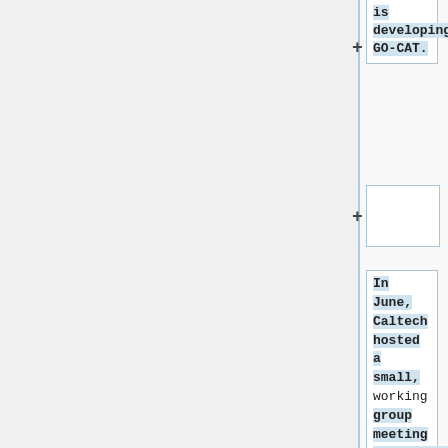is developing GO-CAT.
In June, Caltech hosted a small, working group meeting consisting of Suzi Lewis, Chris Mungall, and Heiko Dietze (LBL), Tony Sawford